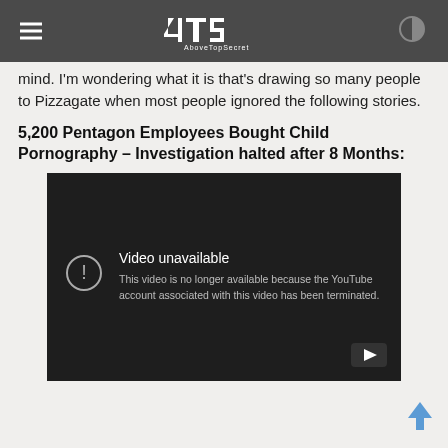4TS AboveTopSecret
mind. I'm wondering what it is that's drawing so many people to Pizzagate when most people ignored the following stories.
5,200 Pentagon Employees Bought Child Pornography – Investigation halted after 8 Months:
[Figure (screenshot): Embedded YouTube video showing 'Video unavailable' error message: 'This video is no longer available because the YouTube account associated with this video has been terminated.']